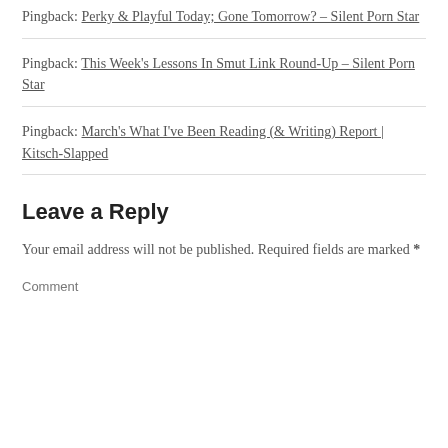Pingback: Perky & Playful Today; Gone Tomorrow? – Silent Porn Star
Pingback: This Week's Lessons In Smut Link Round-Up – Silent Porn Star
Pingback: March's What I've Been Reading (& Writing) Report | Kitsch-Slapped
Leave a Reply
Your email address will not be published. Required fields are marked *
Comment